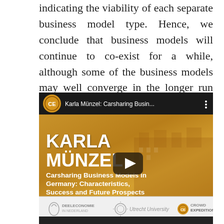indicating the viability of each separate business model type. Hence, we conclude that business models will continue to co-exist for a while, although some of the business models may well converge in the longer run due to Internet-of-Things applications and the introduction of self-driving cars.
[Figure (screenshot): YouTube video thumbnail for 'Karla Münzel: Carsharing Busin...' showing Karla Münzel presenting on 'Carsharing Business Models in Germany: Characteristics, Success and Future Prospects'. The video thumbnail shows a golden/amber toned architectural building background with white bold text. Bottom bar shows logos: Deeleconomie in Nederland, Utrecht University, Crowd Expedition.]